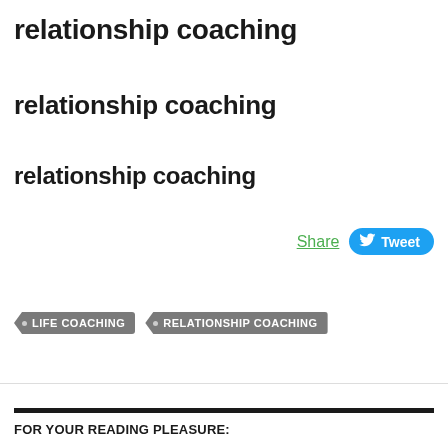relationship coaching
relationship coaching
relationship coaching
Share  Tweet
LIFE COACHING
RELATIONSHIP COACHING
FOR YOUR READING PLEASURE: